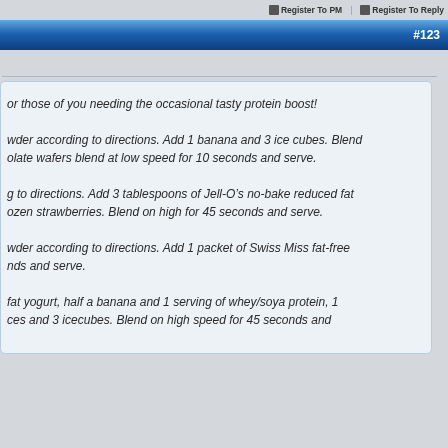Register To PM | Register To Reply
#123
or those of you needing the occasional tasty protein boost!
wder according to directions. Add 1 banana and 3 ice cubes. Blend olate wafers blend at low speed for 10 seconds and serve.
g to directions. Add 3 tablespoons of Jell-O’s no-bake reduced fat ozen strawberries. Blend on high for 45 seconds and serve.
wder according to directions. Add 1 packet of Swiss Miss fat-free nds and serve.
fat yogurt, half a banana and 1 serving of whey/soya protein, 1 ces and 3 icecubes. Blend on high speed for 45 seconds and